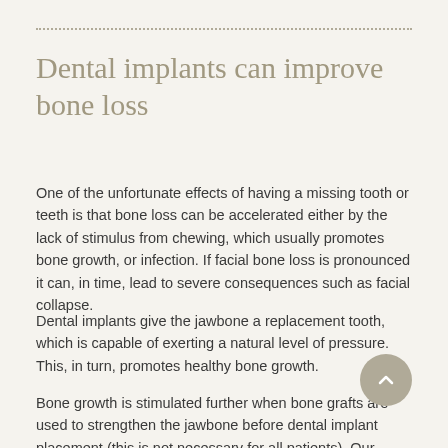Dental implants can improve bone loss
One of the unfortunate effects of having a missing tooth or teeth is that bone loss can be accelerated either by the lack of stimulus from chewing, which usually promotes bone growth, or infection. If facial bone loss is pronounced it can, in time, lead to severe consequences such as facial collapse.
Dental implants give the jawbone a replacement tooth, which is capable of exerting a natural level of pressure. This, in turn, promotes healthy bone growth.
Bone growth is stimulated further when bone grafts are used to strengthen the jawbone before dental implant placement (this is not necessary for all patients). Our photos showing before after dental implants images will